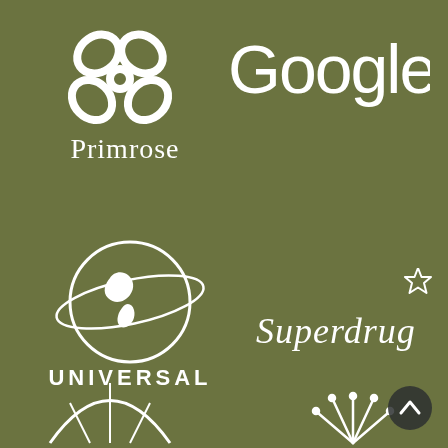[Figure (logo): Primrose logo: white flower/clover icon above white text 'Primrose' on olive green background]
[Figure (logo): Google logo: white text 'Google' in rounded sans-serif on olive green background]
[Figure (logo): Universal logo: white globe with orbital ring and white bold uppercase text 'UNIVERSAL' on olive green background]
[Figure (logo): Superdrug logo: white cursive text 'Superdrug' with a star icon on olive green background]
[Figure (logo): Partial logo at bottom left: white umbrella/parasol outline on olive green background]
[Figure (logo): Partial logo at bottom right: white sunburst/crown outline on olive green background]
[Figure (other): Dark circular back-to-top button with white chevron/caret pointing up, bottom right corner]